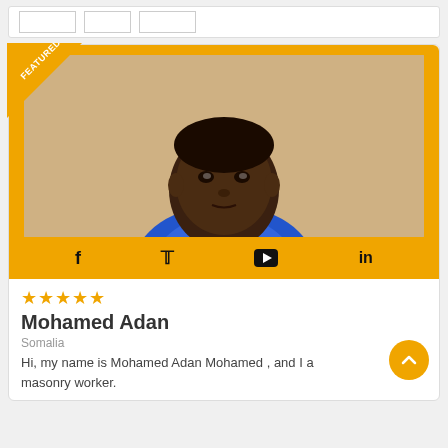[Figure (other): Top navigation bar with empty boxes]
[Figure (photo): Featured profile card for Mohamed Adan, a masonry worker from Somalia. Card has orange border with FEATURED ribbon, photo of a man in blue shirt, social media icons (Facebook, Twitter, YouTube, LinkedIn) on orange bar, 5 star rating, name, location, and bio text.]
Mohamed Adan
Somalia
Hi, my name is Mohamed Adan Mohamed , and I a masonry worker.